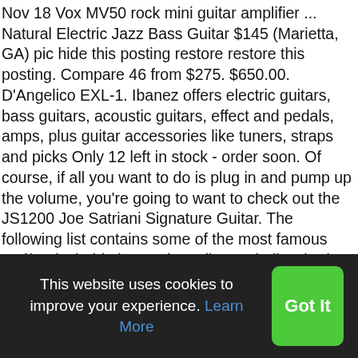Nov 18 Vox MV50 rock mini guitar amplifier ... Natural Electric Jazz Bass Guitar $145 (Marietta, GA) pic hide this posting restore restore this posting. Compare 46 from $275. $650.00. D'Angelico EXL-1. Ibanez offers electric guitars, bass guitars, acoustic guitars, effect and pedals, amps, plus guitar accessories like tuners, straps and picks Only 12 left in stock - order soon. Of course, if all you want to do is plug in and pump up the volume, you're going to want to check out the JS1200 Joe Satriani Signature Guitar. The following list contains some of the most famous and/or desirable jazz guitars. ibanez hollow body, semi-acoustic and jazz guitars Check out our whole range of Ibanez Hollow Body, Semi-Acoustic and Jazz guitars below, including the Artcore Series. The Best Jazz Guitars: A List. favorite this post Oct 24 Ibanez has such a huge selection, these two examples barely touch on it. Based in Nagoya, Aichi, Japan, Hoshino Gakki were one of the first
This website uses cookies to improve your experience. Learn More
Got It